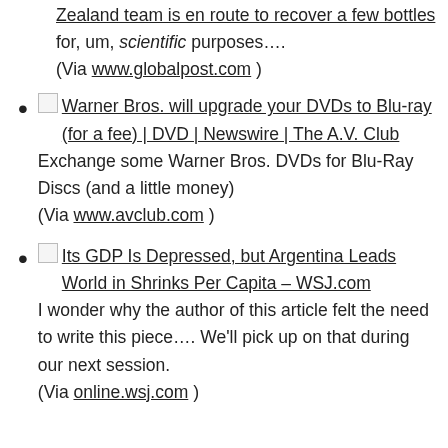Zealand team is en route to recover a few bottles for, um, scientific purposes…. (Via www.globalpost.com )
Warner Bros. will upgrade your DVDs to Blu-ray (for a fee) | DVD | Newswire | The A.V. Club
Exchange some Warner Bros. DVDs for Blu-Ray Discs (and a little money)
(Via www.avclub.com )
Its GDP Is Depressed, but Argentina Leads World in Shrinks Per Capita – WSJ.com
I wonder why the author of this article felt the need to write this piece…. We'll pick up on that during our next session.
(Via online.wsj.com )